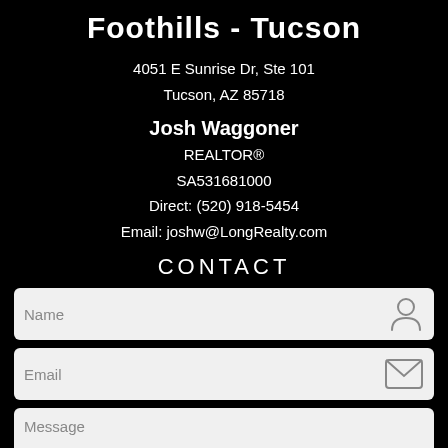Foothills - Tucson
4051 E Sunrise Dr, Ste 101
Tucson, AZ 85718
Josh Waggoner
REALTOR®
SA531681000
Direct: (520) 918-5454
Email: joshw@LongRealty.com
CONTACT
[Figure (other): Contact form with Name, Email, and Message fields, each with placeholder text and an icon on the right (person icon, envelope icon, pencil icon)]